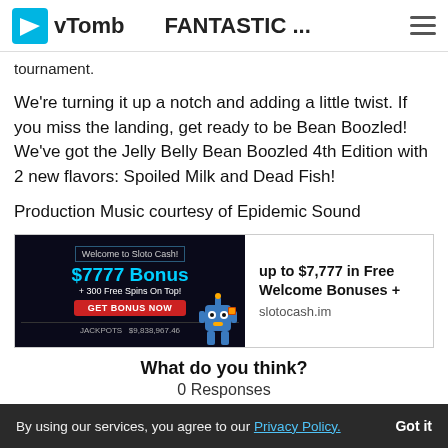vTomb — FANTASTIC ...
tournament.
We're turning it up a notch and adding a little twist. If you miss the landing, get ready to be Bean Boozled! We've got the Jelly Belly Bean Boozled 4th Edition with 2 new flavors: Spoiled Milk and Dead Fish!
Production Music courtesy of Epidemic Sound
[Figure (screenshot): Advertisement banner for SlotoCash showing $7777 Bonus, +300 Free Spins On Top!, Get Bonus Now button, Jackpots $9,838,967.46, robot character, and text 'up to $7,777 in Free Welcome Bonuses + slotocash.im']
What do you think?
0 Responses
By using our services, you agree to our Privacy Policy.  Got it